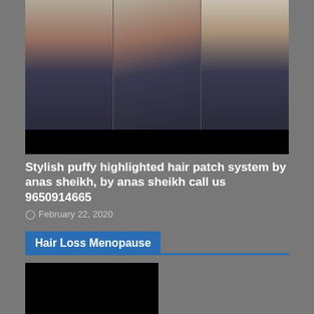[Figure (photo): Three-panel photo showing a man from front, side, and back views, wearing a dark navy hoodie, with a black bar at the bottom of the image.]
Stylish puffy highlighted hair patch system by anas sheikh, by anas sheikh call us 9650914665
February 22, 2020
Hair Loss Menopause
[Figure (photo): Partial black image at the bottom left, appears to be a cropped photo.]